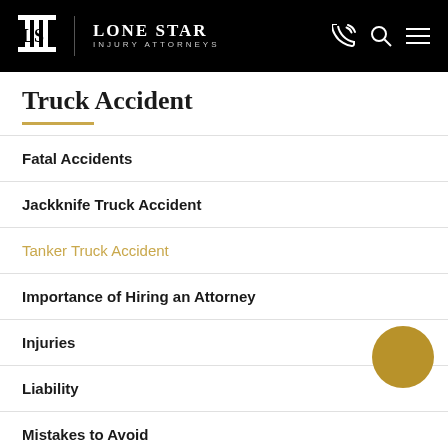Lone Star Injury Attorneys
Truck Accident
Fatal Accidents
Jackknife Truck Accident
Tanker Truck Accident
Importance of Hiring an Attorney
Injuries
Liability
Mistakes to Avoid
What to Do After an Accident